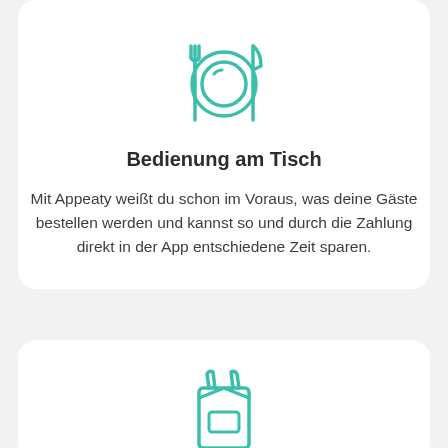[Figure (illustration): Teal outline icon of a dinner plate with fork and knife on either side]
Bedienung am Tisch
Mit Appeaty weißt du schon im Voraus, was deine Gäste bestellen werden und kannst so und durch die Zahlung direkt in der App entschiedene Zeit sparen.
[Figure (illustration): Teal outline icon of a takeaway bag]